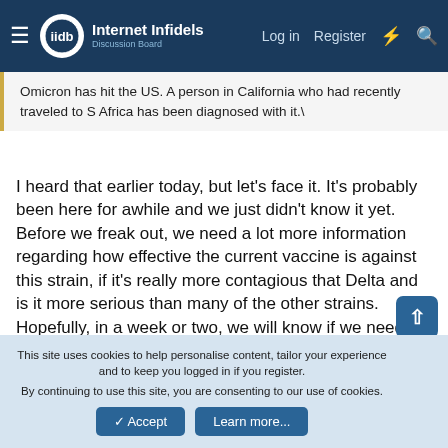Internet Infidels — Log in | Register
Omicron has hit the US. A person in California who had recently traveled to S Africa has been diagnosed with it.\
I heard that earlier today, but let's face it. It's probably been here for awhile and we just didn't know it yet. Before we freak out, we need a lot more information regarding how effective the current vaccine is against this strain, if it's really more contagious that Delta and is it more serious than many of the other strains. Hopefully, in a week or two, we will know if we need to freak out or not.
Happily, despite our vaccine rate only being about 50%, the cases in Georgia are still very low. There were 60 cases in my county of 69,000 people over the last two weeks. That's 60
This site uses cookies to help personalise content, tailor your experience and to keep you logged in if you register.
By continuing to use this site, you are consenting to our use of cookies.